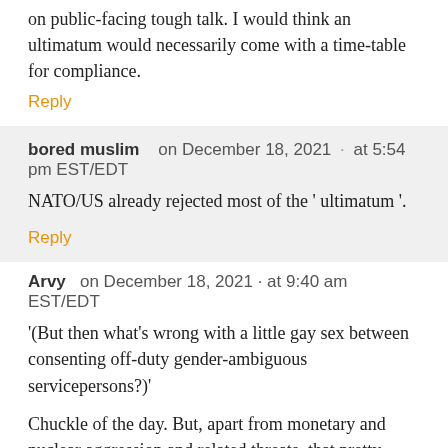on public-facing tough talk. I would think an ultimatum would necessarily come with a time-table for compliance.
Reply
bored muslim   on December 18, 2021  ·  at 5:54 pm EST/EDT
NATO/US already rejected most of the ' ultimatum '.
Reply
Arvy   on December 18, 2021  ·  at 9:40 am EST/EDT
'(But then what's wrong with a little gay sex between consenting off-duty gender-ambiguous servicepersons?)'
Chuckle of the day. But, apart from monetary and nuclear aggression and related threats, that pretty much sums up the pathetic, if laughable, actual state of U.S. preparedness for preservation of its global imperial power and influence. Their proven track record of dishonoring any agreements they've ever entered into, not excluding past 'social contracts' at home, makes any contractual arrangement with U.S.A. Inc. about as useful and reliable as the fabulous scorpion's promise to the frog.